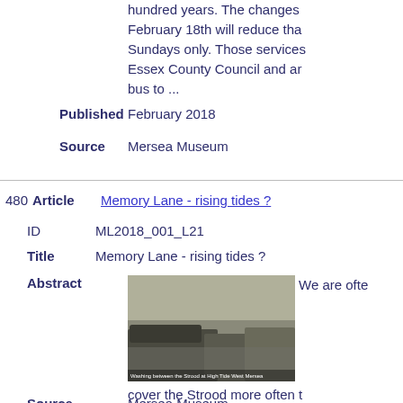hundred years. The changes effective February 18th will reduce tha... Sundays only. Those services... Essex County Council and ar... bus to ...
Published: February 2018
Source: Mersea Museum
480 Article: Memory Lane - rising tides ?
ID: ML2018_001_L21
Title: Memory Lane - rising tides ?
Abstract: We are ofte...
[Figure (photo): Historical black and white photograph showing vehicles on the Strood at high tide, West Mersea. Caption reads: Washing between the Strood at High Tide West Mersea]
cover the Strood more often t... bigger. I think the ever increa... that impression. The attached...
Source: Mersea Museum